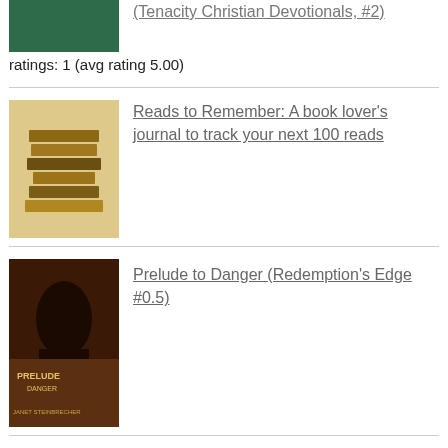[Figure (illustration): Book cover partially visible at top, dark green color]
(Tenacity Christian Devotionals, #2)
ratings: 1 (avg rating 5.00)
[Figure (illustration): Book cover for Reads to Remember: A book lover's journal to track your next 100 reads — stack of books image]
Reads to Remember: A book lover's journal to track your next 100 reads
[Figure (illustration): Book cover for Prelude to Danger (Redemption's Edge #0.5) — dark thriller cover with silhouette]
Prelude to Danger (Redemption's Edge #0.5)
[Figure (illustration): Book cover for A Second Cup of Hot Apple Cider — orange/gold cover with apple image]
A Second Cup of Hot Apple Cider: Words to Stimulate the Mind and Delight the Spirit
reviews: 21
ratings: 36 (avg rating 4.58)